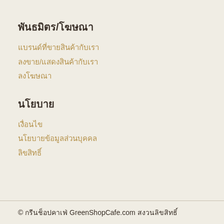พันธมิตร/โฆษณา
แบรนด์ที่ขายสินค้ากับเรา
ลงขาย/แสดงสินค้ากับเรา
ลงโฆษณา
นโยบาย
เงื่อนไข
นโยบายข้อมูลส่วนบุคคล
ลิขสิทธิ์
© กรีนช็อปคาเฟ่ GreenShopCafe.com สงวนลิขสิทธิ์